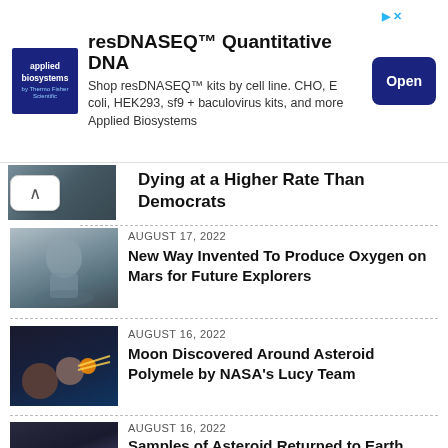[Figure (screenshot): Advertisement banner for Applied Biosystems resDNASEQ Quantitative DNA kits. Shows company logo, product title, description text, and an Open button.]
Dying at a Higher Rate Than Democrats
[Figure (photo): Astronaut in spacesuit standing in foggy/misty Mars-like landscape]
AUGUST 17, 2022
New Way Invented To Produce Oxygen on Mars for Future Explorers
[Figure (photo): Spacecraft near asteroid with golden solar panels, space scene]
AUGUST 16, 2022
Moon Discovered Around Asteroid Polymele by NASA's Lucy Team
[Figure (photo): Spacecraft on rocky asteroid surface with solar panels]
AUGUST 16, 2022
Samples of Asteroid Returned to Earth Reveal Possible Source of Water